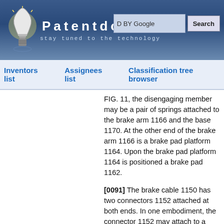[Figure (screenshot): Patentdocs website header with lightbulb logo, site title 'Patentdocs', tagline 'stay tuned to the technology', and a Google search box with Search button]
Inventors list   Assignees list   Classification tree browser
FIG. 11, the disengaging member may be a pair of springs attached to the brake arm 1166 and the base 1170. At the other end of the brake arm 1166 is a brake pad platform 1164. Upon the brake pad platform 1164 is positioned a brake pad 1162.
[0091] The brake cable 1150 has two connectors 1152 attached at both ends. In one embodiment, the connector 1152 may attach to a lever, handle or other type of mechanism which may be controlled by the user.